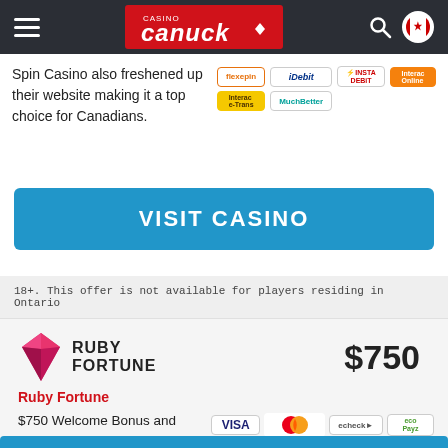Casino Canuck
Spin Casino also freshened up their website making it a top choice for Canadians.
VISIT CASINO
18+. This offer is not available for players residing in Ontario
[Figure (logo): Ruby Fortune casino logo with diamond icon]
$750
Ruby Fortune
$750 Welcome Bonus and over 450 top casino games to choose from